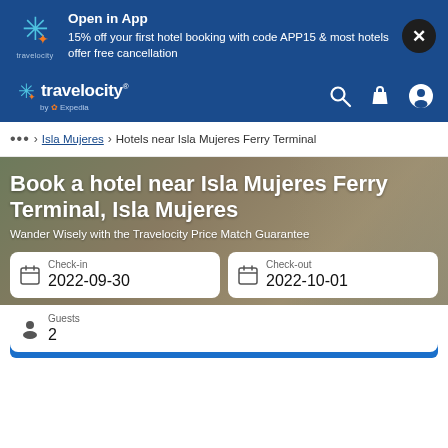[Figure (screenshot): Travelocity app promotional banner with logo, offer text, and close button]
Open in App
15% off your first hotel booking with code APP15 & most hotels offer free cancellation
[Figure (screenshot): Travelocity navigation bar with logo, search, bag, and account icons]
... > Isla Mujeres > Hotels near Isla Mujeres Ferry Terminal
Book a hotel near Isla Mujeres Ferry Terminal, Isla Mujeres
Wander Wisely with the Travelocity Price Match Guarantee
Check-in
2022-09-30
Check-out
2022-10-01
Guests
2
Search